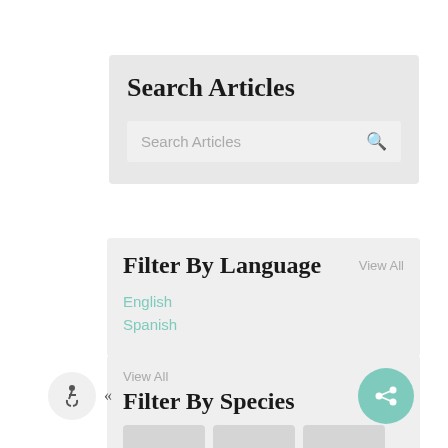Search Articles
Search Articles
Filter By Language
View All
English
Spanish
Filter By Species
View All
[Figure (other): Three animal species thumbnail images in gray placeholder boxes]
[Figure (other): Accessibility icon and collapse chevron button at bottom left]
[Figure (other): Share/social button circle at bottom right]